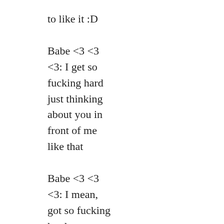to like it :D
Babe <3 <3
<3: I get so fucking hard just thinking about you in front of me like that
Babe <3 <3
<3: I mean, got so fucking hard, you know,